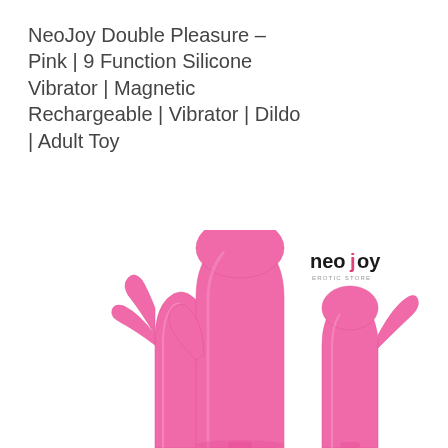NeoJoy Double Pleasure – Pink | 9 Function Silicone Vibrator | Magnetic Rechargeable | Vibrator | Dildo | Adult Toy
[Figure (photo): Three pink silicone vibrators displayed against a white background, showing different sizes and shapes of the NeoJoy Double Pleasure product. The neojoy erotic store logo is visible in the upper right area of the image.]